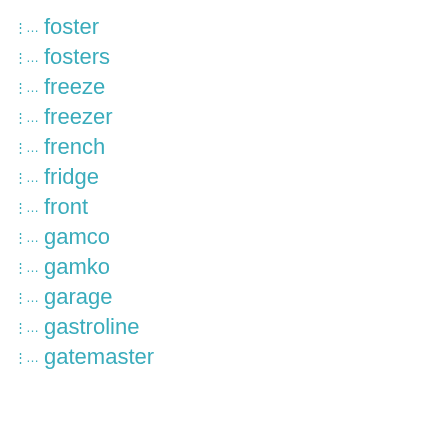foster
fosters
freeze
freezer
french
fridge
front
gamco
gamko
garage
gastroline
gatemaster